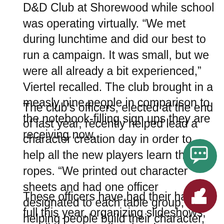D&D Club at Shorewood while school was operating virtually. “We met during lunchtime and did our best to run a campaign. It was small, but we were all already a bit experienced,” Viertel recalled. The club brought in a measly nine people in comparison to the notebook-filling sign ups they are receiving now.
The club’s officers, elected at the end of last year, recently helped lead a character creation day in order to help all the new players learn the ropes. “We printed out character sheets and had one officer designated to each table group, helping people build their character, make sense of all the confusing jargon in D&D books, and learn what making a character actually means,” said Hume.
These officers have had their hands full this year, organizing slideshows, sending out emails, planning campaigns, and laying the general groundwork for
[Figure (illustration): Green circular button with speech bubble / comment icon]
[Figure (illustration): Dark red circular button with thumbs up / like icon]